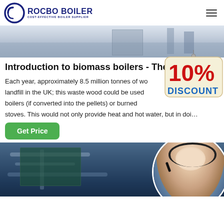ROCBO BOILER COST-EFFECTIVE BOILER SUPPLIER
[Figure (photo): Industrial boiler facility interior photo at top of page]
Introduction to biomass boilers - TheGreenAge
Each year, approximately 8.5 million tonnes of wood end up in landfill in the UK; this waste wood could be used to fuel biomass boilers (if converted into the pellets) or burned in wood-burning stoves. This would not only provide heat and hot water, but in doi…
[Figure (illustration): 10% DISCOUNT badge/sign hanging from a cord]
[Figure (photo): Customer service representative woman wearing headset, smiling, in circular crop]
[Figure (photo): Industrial boiler room photo at bottom of page]